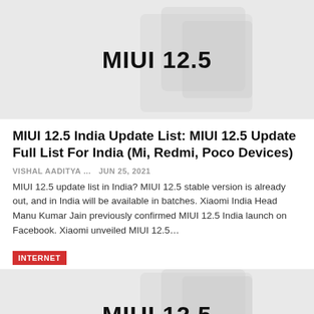[Figure (illustration): MIUI 12.5 logo on light gray background with decorative geometric shapes]
MIUI 12.5 India Update List: MIUI 12.5 Update Full List For India (Mi, Redmi, Poco Devices)
VISHAL AADITYA ...   Jun 25, 2021
MIUI 12.5 update list in India? MIUI 12.5 stable version is already out, and in India will be available in batches. Xiaomi India Head Manu Kumar Jain previously confirmed MIUI 12.5 India launch on Facebook. Xiaomi unveiled MIUI 12.5...
INTERNET
[Figure (illustration): MIUI 12.5 logo on light gray background with decorative geometric shapes]
MIUI 12.5 Update List India (Full): MIUI 12.5 Update